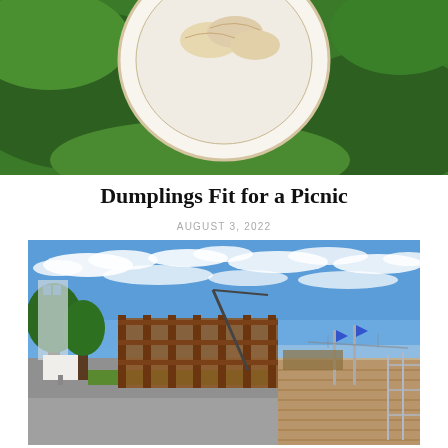[Figure (photo): Overhead view of dumplings on a decorative plate with blue flower border, surrounded by green grass and small white flowers]
Dumplings Fit for a Picnic
AUGUST 3, 2022
[Figure (photo): Outdoor waterfront scene with a rustic wooden/steel structured building, tree-lined walkway, boardwalk with railing on right, bridge visible in distance, under a dramatic blue sky with scattered white clouds]